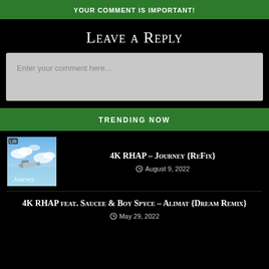YOUR COMMENT IS IMPORTANT!
Leave a Reply
Enter your comment here...
TRENDING NOW
[Figure (photo): Album art for 4K RHAP - Journey {ReFix}, showing an airplane flying over clouds with the word Journey written in cursive]
4K RHAP – Journey {ReFix}
August 9, 2022
4K RHAP feat. Saucee & Boy Spyce – Alimat {Dream Remix}
May 29, 2022